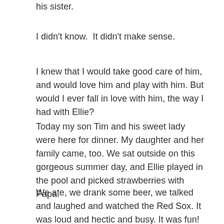his sister.
I didn't know.  It didn't make sense.
I knew that I would take good care of him, and would love him and play with him. But would I ever fall in love with him, the way I had with Ellie?
Today my son Tim and his sweet lady were here for dinner. My daughter and her family came, too. We sat outside on this gorgeous summer day, and Ellie played in the pool and picked strawberries with Papa.
We ate, we drank some beer, we talked and laughed and watched the Red Sox. It was loud and hectic and busy. It was fun!